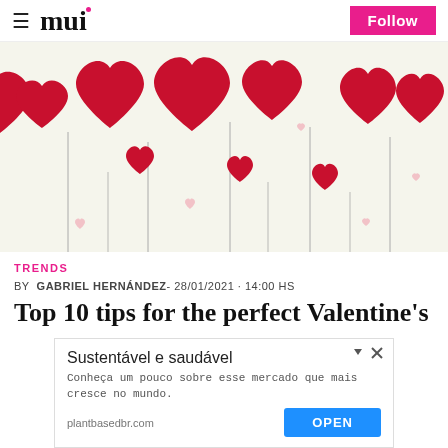≡ mui  Follow
[Figure (illustration): Decorative illustration with red paper heart balloons on strings against a light cream/white background, various sizes scattered across the image.]
TRENDS
BY  GABRIEL HERNÁNDEZ- 28/01/2021 · 14:00 HS
Top 10 tips for the perfect Valentine's
[Figure (other): Advertisement banner: 'Sustentável e saudável' - Conheça um pouco sobre esse mercado que mais cresce no mundo. plantbasedbr.com [OPEN button]]